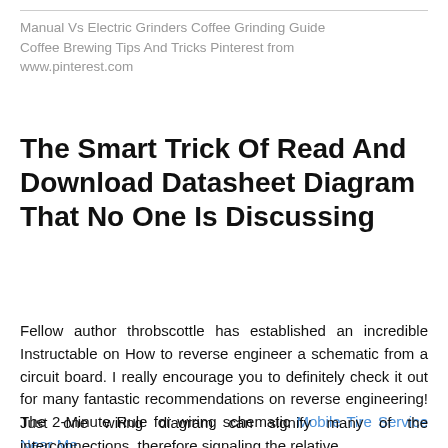Manual Vs Electric Grinders Coffee Grinding Guide Coffee Brewing Tips And Tricks Pinterest from www.pinterest.com
The Smart Trick Of Read And Download Datasheet Diagram That No One Is Discussing
Fellow author throbscottle has established an incredible Instructable on How to reverse engineer a schematic from a circuit board. I really encourage you to definitely check it out for many fantastic recommendations on reverse engineering! The 2-Minute Rule for wiring schematic Mobile Tire Service Near Me
Just one wiring diagram can signify many of the interconnections, therefore signaling the relative